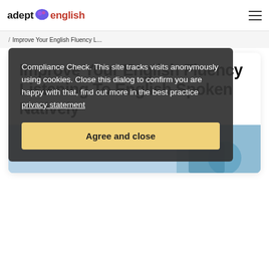adept english
/ Improve Your English Fluency L...
Improve Your English Fluency Listening To English Spoken Natively
[Figure (photo): Article header image showing people in a classroom/medical setting]
Compliance Check. This site tracks visits anonymously using cookies. Close this dialog to confirm you are happy with that, find out more in the best practice privacy statement
Agree and close